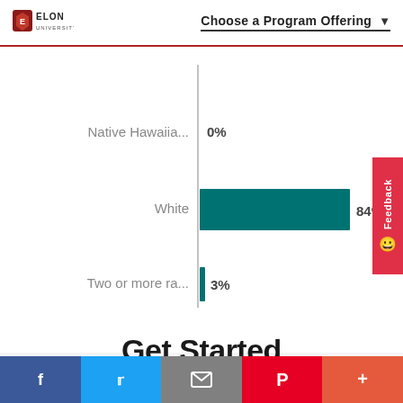ELON UNIVERSITY — Choose a Program Offering
[Figure (bar-chart): Enrollment by Race/Ethnicity]
Get Started
Own the application process. Start a checklist to